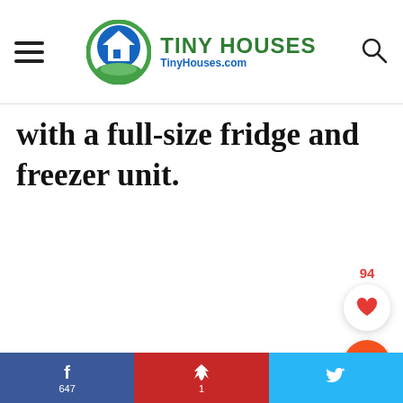TINY HOUSES TinyHouses.com
with a full-size fridge and freezer unit.
[Figure (infographic): Social share bar with Facebook (647 shares), Pinterest (1 save), and Twitter icons at the bottom of the page. Floating like button showing 94 likes and a floating orange search button on the right side.]